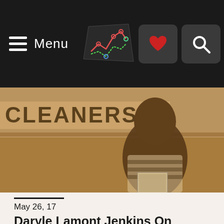Menu
[Figure (photo): Sepia-toned photograph of a Black man standing in front of a dry cleaners storefront, holding a photograph. He is wearing a striped polo shirt and looking directly at the camera.]
May 26, 17
Daryle Lamont Jenkins On Richard Collins III & Rising Alt-